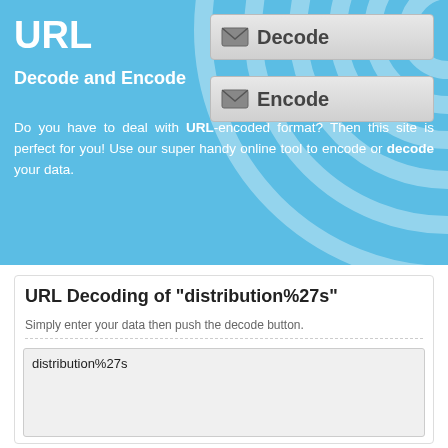URL
Decode and Encode
Do you have to deal with URL-encoded format? Then this site is perfect for you! Use our super handy online tool to encode or decode your data.
URL Decoding of "distribution%27s"
Simply enter your data then push the decode button.
distribution%27s